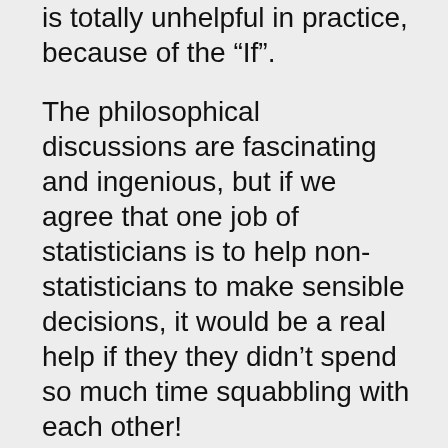is totally unhelpful in practice, because of the “If”.
The philosophical discussions are fascinating and ingenious, but if we agree that one job of statisticians is to help non-statisticians to make sensible decisions, it would be a real help if they they didn’t spend so much time squabbling with each other!